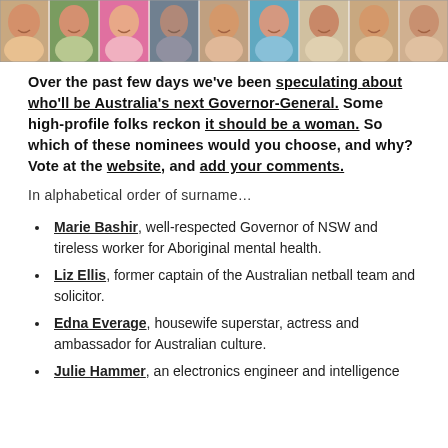[Figure (photo): A strip of headshot photos of various women, displayed horizontally across the top of the page.]
Over the past few days we've been speculating about who'll be Australia's next Governor-General. Some high-profile folks reckon it should be a woman. So which of these nominees would you choose, and why? Vote at the website, and add your comments.
In alphabetical order of surname…
Marie Bashir, well-respected Governor of NSW and tireless worker for Aboriginal mental health.
Liz Ellis, former captain of the Australian netball team and solicitor.
Edna Everage, housewife superstar, actress and ambassador for Australian culture.
Julie Hammer, an electronics engineer and intelligence